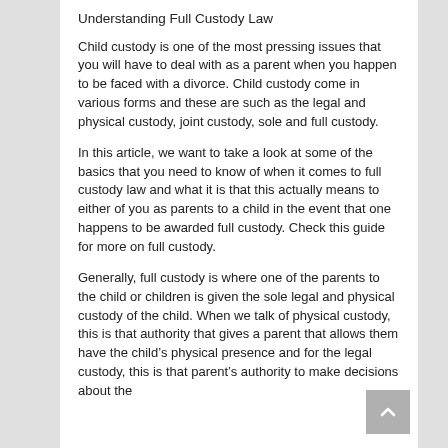Understanding Full Custody Law
Child custody is one of the most pressing issues that you will have to deal with as a parent when you happen to be faced with a divorce. Child custody come in various forms and these are such as the legal and physical custody, joint custody, sole and full custody.
In this article, we want to take a look at some of the basics that you need to know of when it comes to full custody law and what it is that this actually means to either of you as parents to a child in the event that one happens to be awarded full custody. Check this guide for more on full custody.
Generally, full custody is where one of the parents to the child or children is given the sole legal and physical custody of the child. When we talk of physical custody, this is that authority that gives a parent that allows them have the child's physical presence and for the legal custody, this is that parent's authority to make decisions about the child's education, health and welfare. Looking at